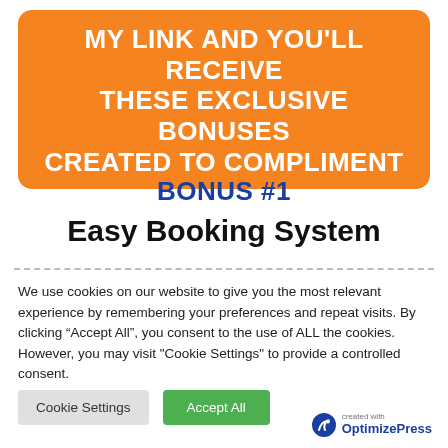MY LINK AND YOU'LL RECEIVE THESE EXCLUSIVE BONUSES CREATED TO COMPLIMENT
BONUS #1
Easy Booking System
We use cookies on our website to give you the most relevant experience by remembering your preferences and repeat visits. By clicking “Accept All”, you consent to the use of ALL the cookies. However, you may visit "Cookie Settings" to provide a controlled consent.
Cookie Settings | Accept All
created with OptimizePress